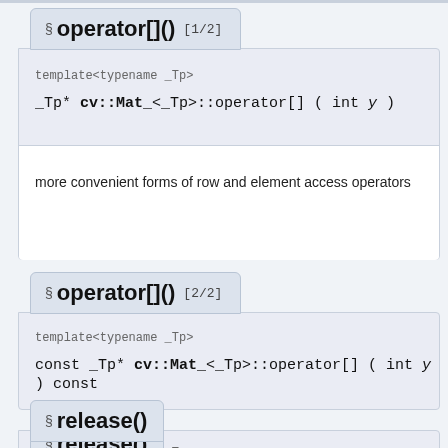§ operator[]() [1/2]
template<typename _Tp>
_Tp* cv::Mat_<_Tp>::operator[] ( int y )
more convenient forms of row and element access operators
§ operator[]() [2/2]
template<typename _Tp>
const _Tp* cv::Mat_<_Tp>::operator[] ( int y ) const
§ release()
template<typename _Tp>